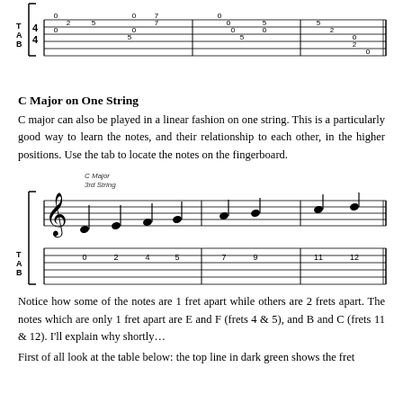[Figure (other): Guitar tablature showing C major scale across multiple strings with fret numbers 0,2,0,0,5,2,7,7,5,5,0,0,5,2,0 etc.]
C Major on One String
C major can also be played in a linear fashion on one string. This is a particularly good way to learn the notes, and their relationship to each other, in the higher positions. Use the tab to locate the notes on the fingerboard.
[Figure (other): Guitar tablature showing C Major on 3rd String with fret numbers 0, 2, 4, 5, 7, 9, 11, 12 and corresponding music notation above.]
Notice how some of the notes are 1 fret apart while others are 2 frets apart. The notes which are only 1 fret apart are E and F (frets 4 & 5), and B and C (frets 11 & 12). I'll explain why shortly…
First of all look at the table below: the top line in dark green shows the fret